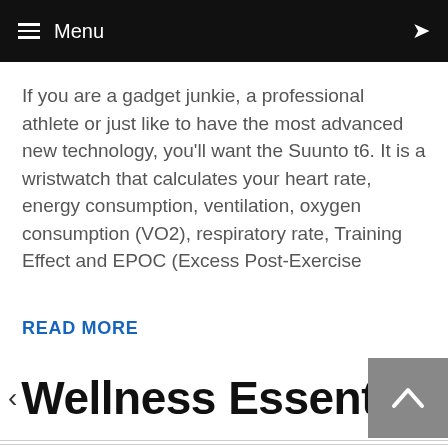Menu
If you are a gadget junkie, a professional athlete or just like to have the most advanced new technology, you'll want the Suunto t6. It is a wristwatch that calculates your heart rate, energy consumption, ventilation, oxygen consumption (VO2), respiratory rate, Training Effect and EPOC (Excess Post-Exercise
READ MORE
Wellness Essentials
At Home
At Work